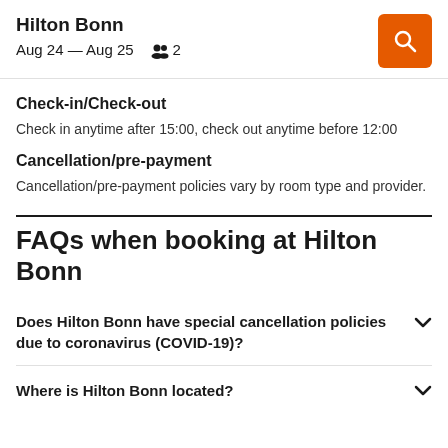Hilton Bonn
Aug 24 — Aug 25  👥 2
Check-in/Check-out
Check in anytime after 15:00, check out anytime before 12:00
Cancellation/pre-payment
Cancellation/pre-payment policies vary by room type and provider.
FAQs when booking at Hilton Bonn
Does Hilton Bonn have special cancellation policies due to coronavirus (COVID-19)?
Where is Hilton Bonn located?